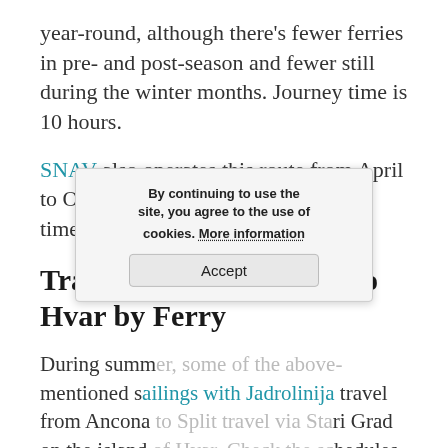year-round, although there's fewer ferries in pre- and post-season and fewer still during the winter months. Journey time is 10 hours.
SNAV also operates this route from April to October, running services several times a week.
Travelling from Ancona to Hvar by Ferry
During summer, some of the above-mentioned sailings with Jadrolinija travel from Ancona to Split travel via Stari Grad on the island of Hvar. Check the schedules shown on the Jadrolinija website to see which days their ferries dock at Stari Grad.